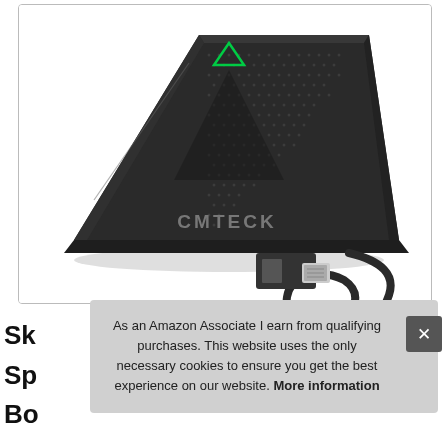[Figure (photo): A CMTECK brand USB desktop microphone, triangular/trapezoidal shape with perforated top and a green triangle LED indicator, with a USB cable attached ending in a USB-A connector, shown on white background.]
Sk
Sp
Bo
As an Amazon Associate I earn from qualifying purchases. This website uses the only necessary cookies to ensure you get the best experience on our website. More information